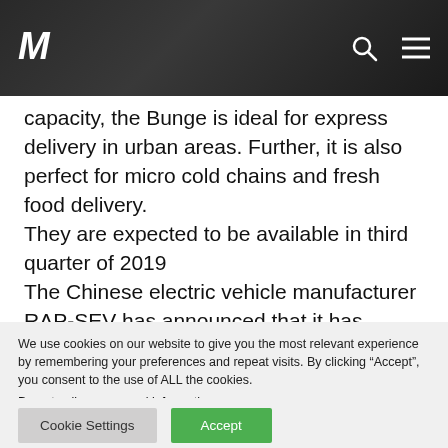M [logo] [search icon] [menu icon]
capacity, the Bunge is ideal for express delivery in urban areas. Further, it is also perfect for micro cold chains and fresh food delivery.
They are expected to be available in third quarter of 2019
The Chinese electric vehicle manufacturer RAP-SEV has announced that it has signed an agreement with Australian electric vehicle maker e-Motion Concepts to import two models of
We use cookies on our website to give you the most relevant experience by remembering your preferences and repeat visits. By clicking “Accept”, you consent to the use of ALL the cookies.
Do not sell my personal information.
Cookie Settings   Accept